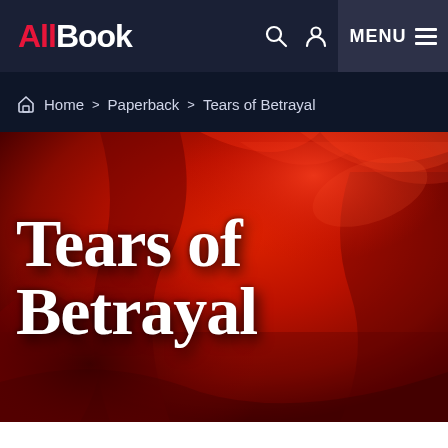AllBook — MENU
Home > Paperback > Tears of Betrayal
[Figure (illustration): Book cover for 'Tears of Betrayal' — large white serif text reading 'Tears of Betrayal' on a deep red satin/fabric background with dramatic folds and shadows.]